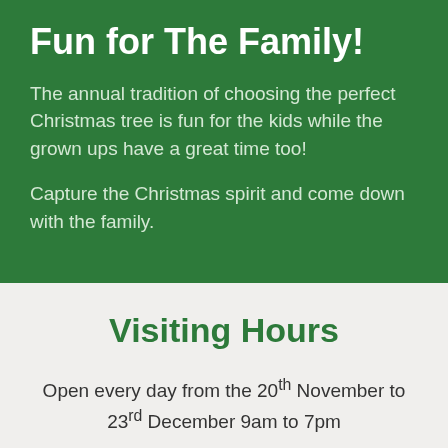Fun for The Family!
The annual tradition of choosing the perfect Christmas tree is fun for the kids while the grown ups have a great time too!
Capture the Christmas spirit and come down with the family.
Visiting Hours
Open every day from the 20th November to 23rd December 9am to 7pm